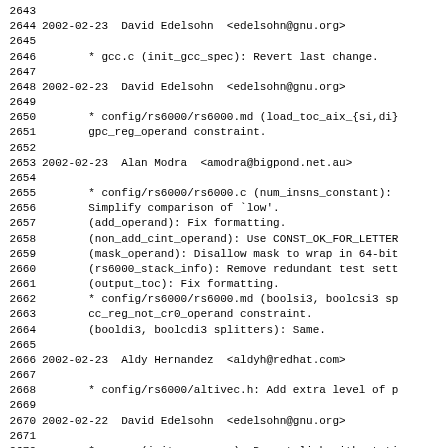2643
2644 2002-02-23  David Edelsohn  <edelsohn@gnu.org>
2645
2646        * gcc.c (init_gcc_spec): Revert last change.
2647
2648 2002-02-23  David Edelsohn  <edelsohn@gnu.org>
2649
2650        * config/rs6000/rs6000.md (load_toc_aix_{si,di}
2651        gpc_reg_operand constraint.
2652
2653 2002-02-23  Alan Modra  <amodra@bigpond.net.au>
2654
2655        * config/rs6000/rs6000.c (num_insns_constant):
2656        Simplify comparison of `low'.
2657        (add_operand): Fix formatting.
2658        (non_add_cint_operand): Use CONST_OK_FOR_LETTER
2659        (mask_operand): Disallow mask to wrap in 64-bit
2660        (rs6000_stack_info): Remove redundant test sett
2661        (output_toc): Fix formatting.
2662        * config/rs6000/rs6000.md (boolsi3, boolcsi3 sp
2663        cc_reg_not_cr0_operand constraint.
2664        (booldi3, boolcdi3 splitters): Same.
2665
2666 2002-02-23  Aldy Hernandez  <aldyh@redhat.com>
2667
2668        * config/rs6000/altivec.h: Add extra level of p
2669
2670 2002-02-22  David Edelsohn  <edelsohn@gnu.org>
2671
2672        * gcc.c (init_gcc_spec): Do not link with stati
2673        gcc invoked with -shared-libgcc.
2674